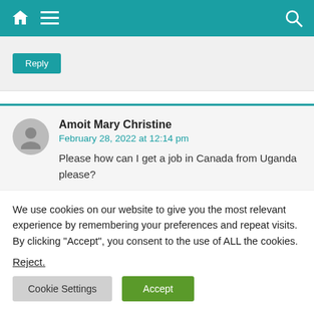Navigation bar with home icon, menu icon, and search icon
Reply
Amoit Mary Christine
February 28, 2022 at 12:14 pm
Please how can I get a job in Canada from Uganda please?
We use cookies on our website to give you the most relevant experience by remembering your preferences and repeat visits. By clicking “Accept”, you consent to the use of ALL the cookies.
Reject.
Cookie Settings  Accept